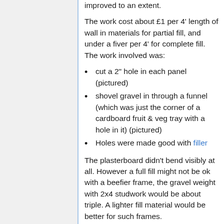improved to an extent.
The work cost about £1 per 4' length of wall in materials for partial fill, and under a fiver per 4' for complete fill. The work involved was:
cut a 2" hole in each panel (pictured)
shovel gravel in through a funnel (which was just the corner of a cardboard fruit & veg tray with a hole in it) (pictured)
Holes were made good with filler
The plasterboard didn't bend visibly at all. However a full fill might not be ok with a beefier frame, the gravel weight with 2x4 studwork would be about triple. A lighter fill material would be better for such frames.
In a fire, the gravel spills out after a while, and may partially smother the